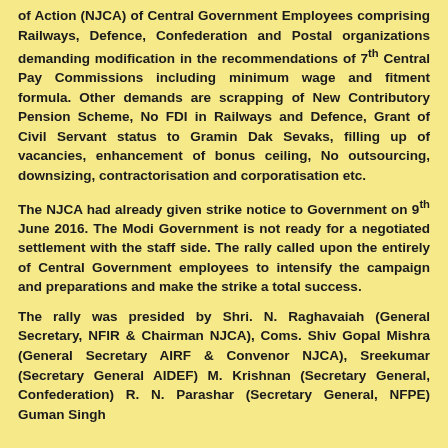of Action (NJCA) of Central Government Employees comprising Railways, Defence, Confederation and Postal organizations demanding modification in the recommendations of 7th Central Pay Commissions including minimum wage and fitment formula. Other demands are scrapping of New Contributory Pension Scheme, No FDI in Railways and Defence, Grant of Civil Servant status to Gramin Dak Sevaks, filling up of vacancies, enhancement of bonus ceiling, No outsourcing, downsizing, contractorisation and corporatisation etc.
The NJCA had already given strike notice to Government on 9th June 2016. The Modi Government is not ready for a negotiated settlement with the staff side. The rally called upon the entirely of Central Government employees to intensify the campaign and preparations and make the strike a total success.
The rally was presided by Shri. N. Raghavaiah (General Secretary, NFIR & Chairman NJCA), Coms. Shiv Gopal Mishra (General Secretary AIRF & Convenor NJCA), Sreekumar (Secretary General AIDEF) M. Krishnan (Secretary General, Confederation) R. N. Parashar (Secretary General, NFPE) Guman Singh